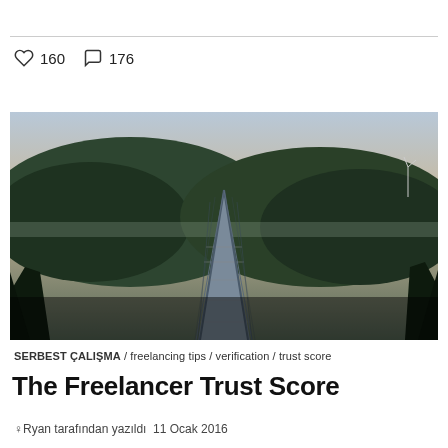160  176
[Figure (photo): A long suspension bridge stretching into the distance over forested hills at dusk, viewed from a first-person perspective on the bridge deck.]
SERBEST ÇALIŞMA / freelancing tips / verification / trust score
The Freelancer Trust Score
Ryan tarafından yazıldı 11 Ocak 2016